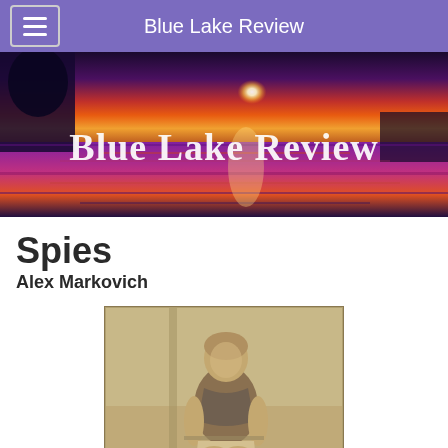Blue Lake Review
[Figure (photo): Blue Lake Review banner: sunset over a lake with vivid orange, red, and purple hues reflected on the water, with text 'Blue Lake Review' overlaid in white]
Spies
Alex Markovich
[Figure (photo): Sepia-toned vintage photograph of a young woman with short hair sitting outdoors, wearing a sleeveless top and light-colored pants]